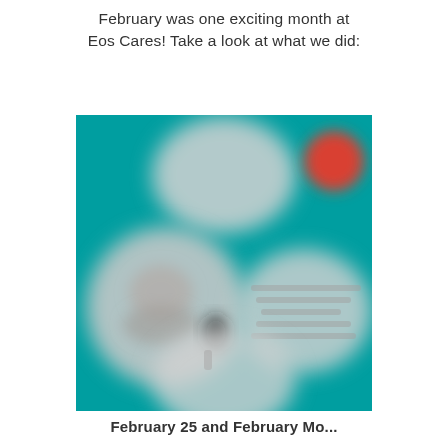February was one exciting month at Eos Cares! Take a look at what we did:
[Figure (photo): Teal/turquoise background with several blurred circular portrait photos arranged in a collage. One small red circular element visible in the top right corner.]
February 25 and February Mo...